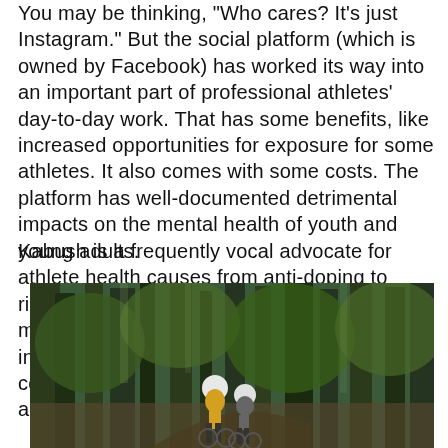You may be thinking, 'Who cares? It's just Instagram.' But the social platform (which is owned by Facebook) has worked its way into an important part of professional athletes' day-to-day work. That has some benefits, like increased opportunities for exposure for some athletes. It also comes with some costs. The platform has well-documented detrimental impacts on the mental health of youth and young adults.
Kabush is a frequently vocal advocate for athlete health causes from anti-doping to rider safety. That combination, of social media's importance and potentially harmful impacts, meant it was time to start a conversation. The Canadian is not against any and all socials, though.
[Figure (photo): Two mountain bikers riding through a dense green forest, one in a yellow jersey with a white helmet, another behind in white helmet]